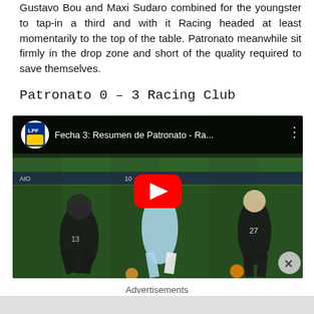Gustavo Bou and Maxi Sudaro combined for the youngster to tap-in a third and with it Racing headed at least momentarily to the top of the table. Patronato meanwhile sit firmly in the drop zone and short of the quality required to save themselves.
Patronato  0 – 3  Racing Club
[Figure (screenshot): YouTube video thumbnail showing a football match between Patronato and Racing Club, with the title 'Fecha 3: Resumen de Patronato - Ra...' and LPF logo. Red YouTube play button overlaid on the match action image.]
Advertisements